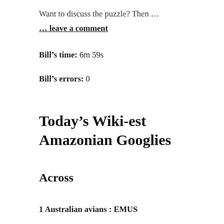Want to discuss the puzzle? Then …
… leave a comment
Bill’s time: 6m 59s
Bill’s errors: 0
Today’s Wiki-est Amazonian Googlies
Across
1 Australian avians : EMUS
The emu has had a tough time in Australia since man settled there. There was even an “Emu War” in